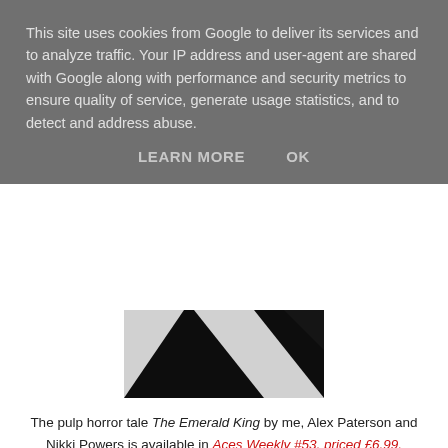This site uses cookies from Google to deliver its services and to analyze traffic. Your IP address and user-agent are shared with Google along with performance and security metrics to ensure quality of service, generate usage statistics, and to detect and address abuse.
LEARN MORE    OK
[Figure (illustration): Partial black-and-white comic art image, partially visible behind cookie overlay]
The pulp horror tale The Emerald King by me, Alex Paterson and Nikki Powers is available in Aces Weekly #53, priced £6.99.
[Figure (illustration): Aces Weekly magazine cover showing a woman in blue winter gear with the Aces Weekly logo at the top]